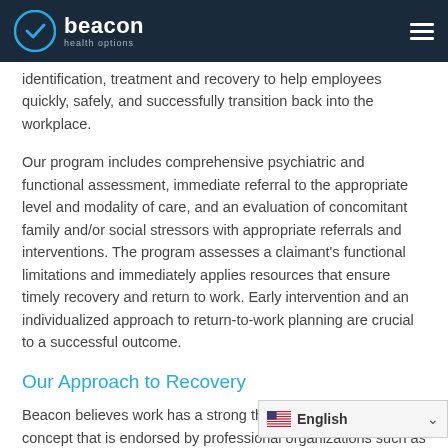beacon health options
identification, treatment and recovery to help employees quickly, safely, and successfully transition back into the workplace.
Our program includes comprehensive psychiatric and functional assessment, immediate referral to the appropriate level and modality of care, and an evaluation of concomitant family and/or social stressors with appropriate referrals and interventions. The program assesses a claimant's functional limitations and immediately applies resources that ensure timely recovery and return to work. Early intervention and an individualized approach to return-to-work planning are crucial to a successful outcome.
Our Approach to Recovery
Beacon believes work has a strong therapeutic value, a concept that is endorsed by professional organizations such as the Integrated Benefits Institute